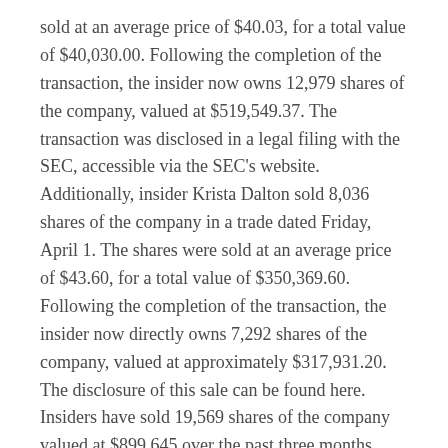sold at an average price of $40.03, for a total value of $40,030.00. Following the completion of the transaction, the insider now owns 12,979 shares of the company, valued at $519,549.37. The transaction was disclosed in a legal filing with the SEC, accessible via the SEC's website. Additionally, insider Krista Dalton sold 8,036 shares of the company in a trade dated Friday, April 1. The shares were sold at an average price of $43.60, for a total value of $350,369.60. Following the completion of the transaction, the insider now directly owns 7,292 shares of the company, valued at approximately $317,931.20. The disclosure of this sale can be found here. Insiders have sold 19,569 shares of the company valued at $899,645 over the past three months. Insiders own 1.10% of the shares of the company.
A number of hedge funds have recently bought and sold shares of OSTK. William Blair Investment Management LLC acquired a new position in Overstock.com in the third quarter worth approximately $217,443,000. Invesco Ltd.